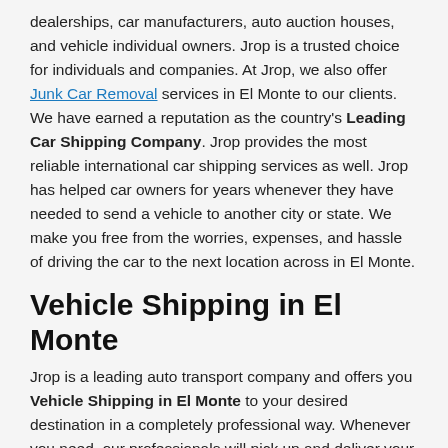dealerships, car manufacturers, auto auction houses, and vehicle individual owners. Jrop is a trusted choice for individuals and companies. At Jrop, we also offer Junk Car Removal services in El Monte to our clients. We have earned a reputation as the country's Leading Car Shipping Company. Jrop provides the most reliable international car shipping services as well. Jrop has helped car owners for years whenever they have needed to send a vehicle to another city or state. We make you free from the worries, expenses, and hassle of driving the car to the next location across in El Monte.
Vehicle Shipping in El Monte
Jrop is a leading auto transport company and offers you Vehicle Shipping in El Monte to your desired destination in a completely professional way. Whenever you need, our professionals will pick up and deliver your vehicles at your residence, office, or any other place you designate. Jrop also